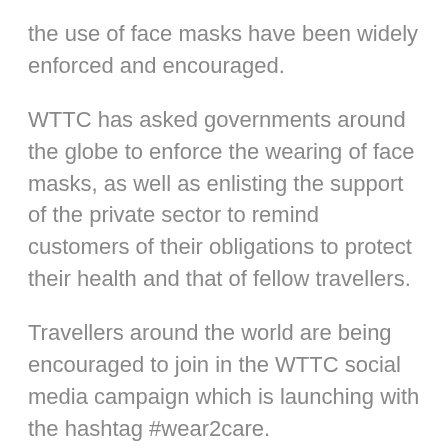the use of face masks have been widely enforced and encouraged.
WTTC has asked governments around the globe to enforce the wearing of face masks, as well as enlisting the support of the private sector to remind customers of their obligations to protect their health and that of fellow travellers.
Travellers around the world are being encouraged to join in the WTTC social media campaign which is launching with the hashtag #wear2care.
Frequent handwashing and using hand